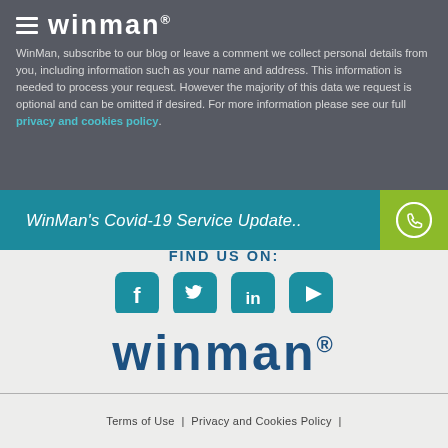WinMan, subscribe to our blog or leave a comment we collect personal details from you, including information such as your name and address. This information is needed to process your request. However the majority of this data we request is optional and can be omitted if desired. For more information please see our full privacy and cookies policy.
WinMan's Covid-19 Service Update..
FIND US ON:
[Figure (logo): WinMan logo in dark blue with registered trademark symbol]
Terms of Use | Privacy and Cookies Policy |